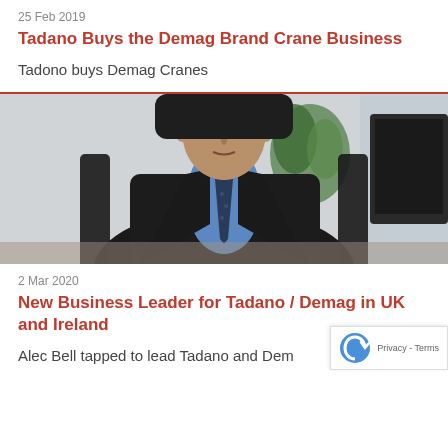25 Feb 2019
Tadano Buys the Demag Brand Crane Business
Tadono buys Demag Cranes
[Figure (photo): A man in a dark suit and blue shirt with a tie sits in an office chair, looking at the camera. A plant and a monitor are visible in the background.]
2 Mar 2020
New Business Leader for Tadano / Demag in UK and Ireland
Alec Bell tapped to lead Tadano and Demag in the UK and Ireland